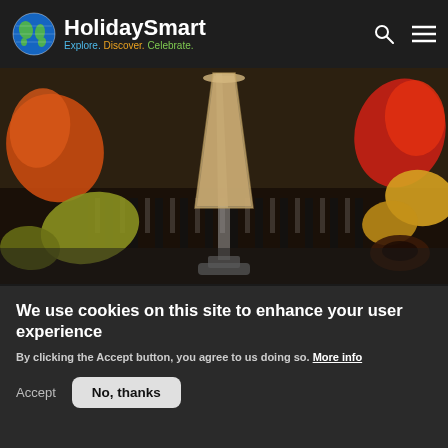HolidaySmart — Explore. Discover. Celebrate.
[Figure (photo): A tall cocktail or milkshake glass with a creamy brown drink, surrounded by colorful autumn leaves on a dark background.]
We use cookies on this site to enhance your user experience
By clicking the Accept button, you agree to us doing so. More info
Accept
No, thanks